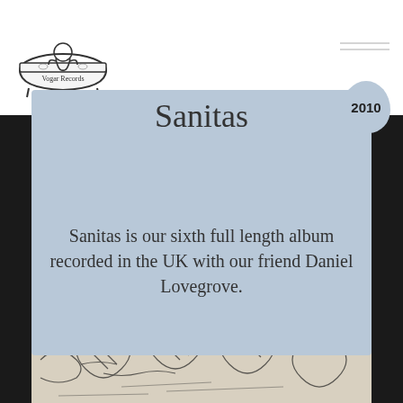[Figure (logo): Vogar Records logo: hand-drawn illustration of a bathtub with a person in it, text 'Vogar Records' below]
- ICELANDIC DIY STUDIO AND RECORD LABEL -
Sanitas
Sanitas is our sixth full length album recorded in the UK with our friend Daniel Lovegrove.
[Figure (photo): Black and white sketch/photo of album art showing 'Stefrana Hákon' handwritten at top, with illustrated figures below]